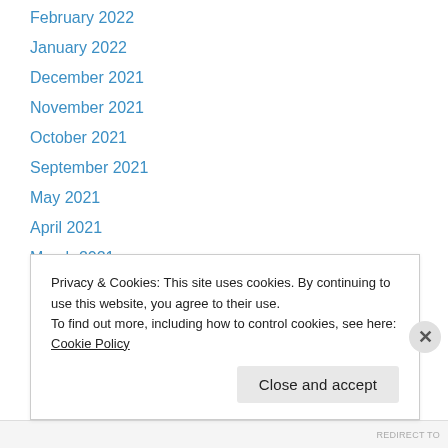February 2022
January 2022
December 2021
November 2021
October 2021
September 2021
May 2021
April 2021
March 2021
February 2021
January 2021
December 2020
November 2020
Privacy & Cookies: This site uses cookies. By continuing to use this website, you agree to their use.
To find out more, including how to control cookies, see here: Cookie Policy
REDIRECT TO